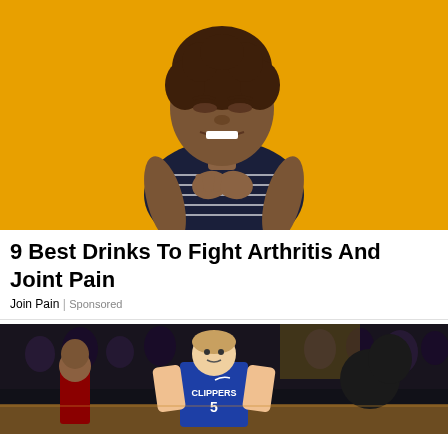[Figure (photo): Woman with natural hair wearing a dark striped top, looking at her hands with a pained/cringing expression, against a yellow background]
9 Best Drinks To Fight Arthritis And Joint Pain
Join Pain | Sponsored
[Figure (photo): Basketball players in a game, one wearing a blue Clippers #5 jersey, standing on court with crowd in background]